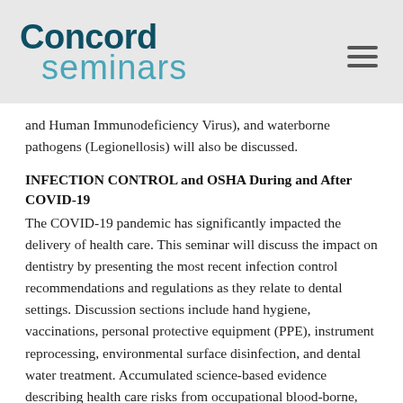[Figure (logo): Concord Seminars logo with dark teal 'Concord' text and lighter teal 'seminars' text, with a hamburger menu icon on the right]
and Human Immunodeficiency Virus), and waterborne pathogens (Legionellosis) will also be discussed.
INFECTION CONTROL and OSHA During and After COVID-19
The COVID-19 pandemic has significantly impacted the delivery of health care. This seminar will discuss the impact on dentistry by presenting the most recent infection control recommendations and regulations as they relate to dental settings. Discussion sections include hand hygiene, vaccinations, personal protective equipment (PPE), instrument reprocessing, environmental surface disinfection, and dental water treatment. Accumulated science-based evidence describing health care risks from occupational blood-borne, airborne, and waterborne pathogens will serve as frameworks for the presentation.